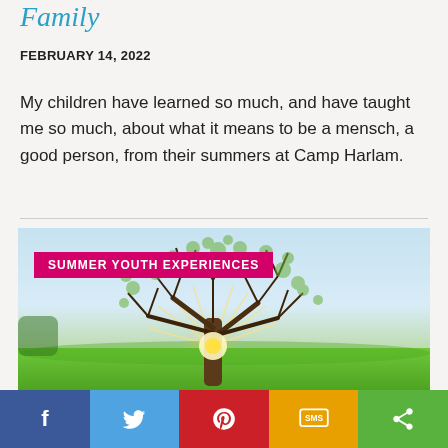Family
FEBRUARY 14, 2022
My children have learned so much, and have taught me so much, about what it means to be a mensch, a good person, from their summers at Camp Harlam.
[Figure (photo): A large tree in a sunlit green field with sunburst shining through branches, labeled with 'SUMMER YOUTH EXPERIENCES' badge]
Social share bar: Facebook, Twitter, Pinterest, SMS, Share